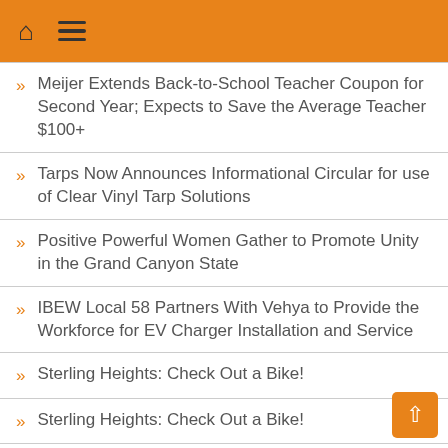Home | Menu
Meijer Extends Back-to-School Teacher Coupon for Second Year; Expects to Save the Average Teacher $100+
Tarps Now Announces Informational Circular for use of Clear Vinyl Tarp Solutions
Positive Powerful Women Gather to Promote Unity in the Grand Canyon State
IBEW Local 58 Partners With Vehya to Provide the Workforce for EV Charger Installation and Service
Sterling Heights: Check Out a Bike!
Sterling Heights: Check Out a Bike!
Michigan Philharmonic launches new music series
Nomorobo Assists Urgent FCC and Carrier Efforts to Crack